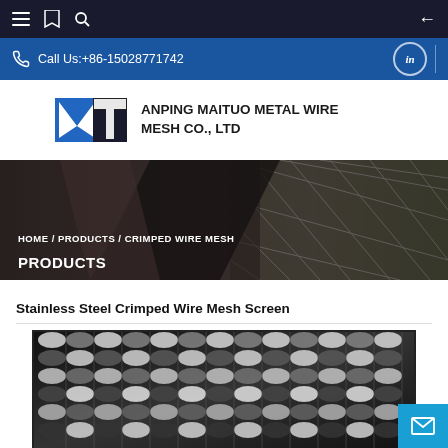Navigation bar with menu, bookmark, search icons and back arrow
Call Us:+86-15028771742
[Figure (logo): MT logo - blue M and T letters with company name ANPING MAITUO METAL WIRE MESH CO., LTD]
[Figure (photo): Hero banner showing close-up of crimped wire mesh, dark metallic texture with diamond pattern]
HOME / PRODUCTS / CRIMPED WIRE MESH
PRODUCTS
Stainless Steel Crimped Wire Mesh Screen
[Figure (photo): Close-up photo of stainless steel crimped wire mesh showing woven metallic wire grid pattern in black and white]